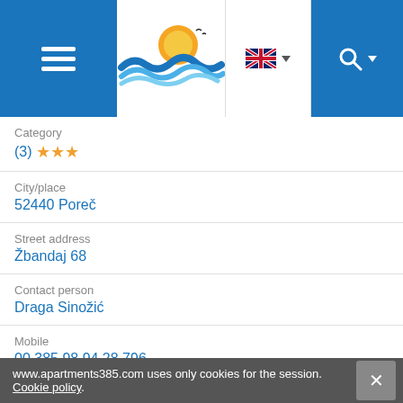[Figure (screenshot): Website navigation bar with hamburger menu, logo (sun and wave), UK flag language selector, and search icon]
Category
(3) ★★★
City/place
52440 Poreč
Street address
Žbandaj 68
Contact person
Draga Sinožić
Mobile
00 385 98 94 28 796
Phone
00 385 52 460 221
Fax
—
www.apartments385.com uses only cookies for the session. Cookie policy.